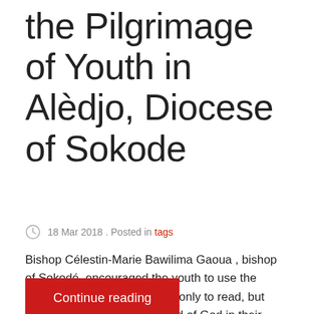the Pilgrimage of Youth in Alèdjo, Diocese of Sokode
18 Mar 2018 . Posted in tags
Bishop Célestin-Marie Bawilima Gaoua , bishop of Sokodé, encouraged the youth to use the Lectioyouth.Net program not only to read, but also to hear and live the Word of God in their daily lives.
Continue reading